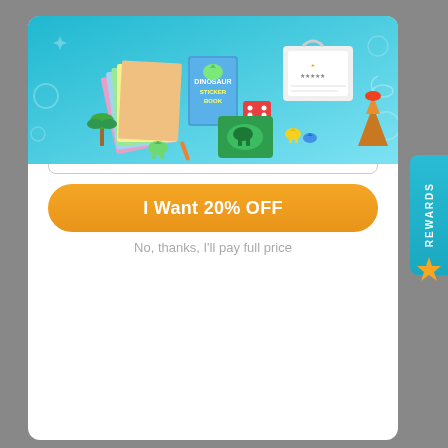[Figure (photo): Children's craft/activity kit showing colorful papers, stickers, dinosaur sticker book, puzzle pieces, and art supplies spread out on a light blue background with playful doodle decorations.]
Get 20% OFF On Your Purchase
One Time Offer Only
Email
I Want 20% OFF
No, thanks, I'll pay full price